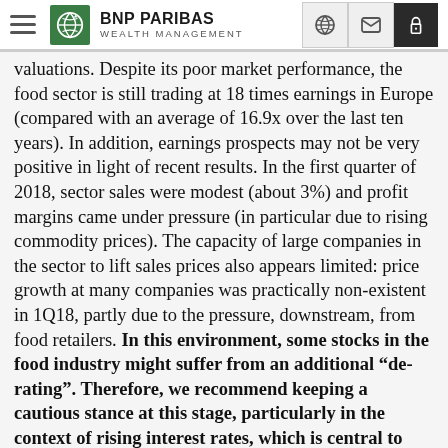BNP PARIBAS WEALTH MANAGEMENT
valuations. Despite its poor market performance, the food sector is still trading at 18 times earnings in Europe (compared with an average of 16.9x over the last ten years). In addition, earnings prospects may not be very positive in light of recent results. In the first quarter of 2018, sector sales were modest (about 3%) and profit margins came under pressure (in particular due to rising commodity prices). The capacity of large companies in the sector to lift sales prices also appears limited: price growth at many companies was practically non-existent in 1Q18, partly due to the pressure, downstream, from food retailers. In this environment, some stocks in the food industry might suffer from an additional “de-rating”. Therefore, we recommend keeping a cautious stance at this stage, particularly in the context of rising interest rates, which is central to our economic scenario.